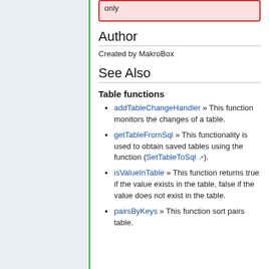only
Author
Created by MakroBox
See Also
Table functions
addTableChangeHandler » This function monitors the changes of a table.
getTableFromSql » This functionality is used to obtain saved tables using the function (SetTableToSql).
isValueInTable » This function returns true if the value exists in the table, false if the value does not exist in the table.
pairsByKeys » This function sort pairs table.